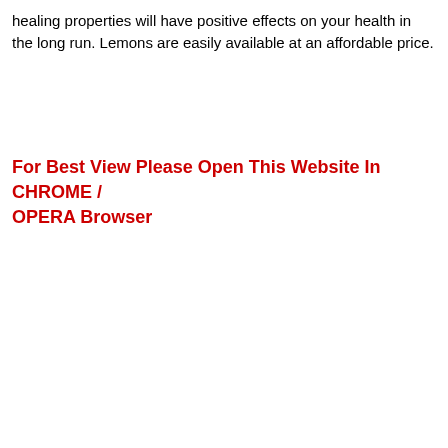healing properties will have positive effects on your health in the long run. Lemons are easily available at an affordable price.
For Best View Please Open This Website In CHROME / OPERA Browser